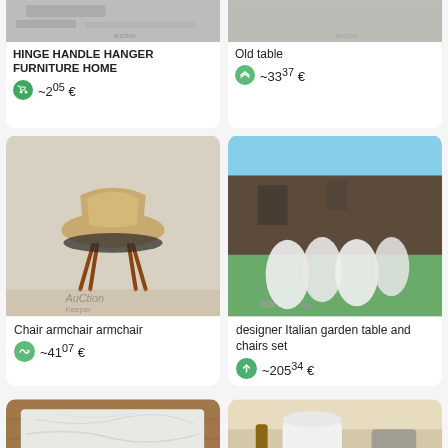[Figure (photo): Partial top of a product listing card showing auction/furniture hardware image (cropped)]
HINGE HANDLE HANGER FURNITURE HOME
~2^05 €
[Figure (photo): Partial top of a product listing card showing old table image (cropped)]
Old table
~33^37 €
[Figure (photo): Yellow/mustard mid-century modern chair with wooden legs, auction watermark]
Chair armchair armchair
~41^07 €
[Figure (photo): White designer Italian garden chairs and table set outdoors near wooden building]
designer Italian garden table and chairs set
~205^34 €
[Figure (photo): Marble-top table with metal legs on wooden floor (cropped bottom)]
[Figure (photo): White ceramic vase or pot with decorative items on shelf (cropped bottom)]